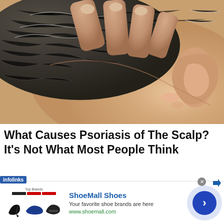[Figure (photo): Close-up photo of a person's scalp and hair near the neckline, with fingers touching/scratching the scalp, showing skin condition near the hairline and ear area.]
What Causes Psoriasis of The Scalp? It's Not What Most People Think
[Figure (other): Advertisement banner: ShoeMall Shoes - infolinks ad with shoe images, 'Your favorite shoe brands are here', www.shoemall.com, with a blue circular chevron button on the right.]